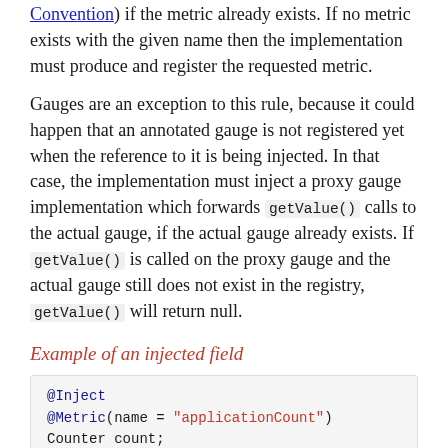Convention) if the metric already exists. If no metric exists with the given name then the implementation must produce and register the requested metric.
Gauges are an exception to this rule, because it could happen that an annotated gauge is not registered yet when the reference to it is being injected. In that case, the implementation must inject a proxy gauge implementation which forwards getValue() calls to the actual gauge, if the actual gauge already exists. If getValue() is called on the proxy gauge and the actual gauge still does not exist in the registry, getValue() will return null.
Example of an injected field
@Inject
@Metric(name = "applicationCount")
Counter count;